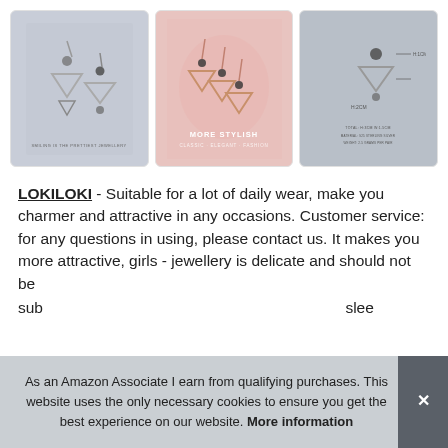[Figure (photo): Three product photos of triangle drop earrings displayed in cards. Left card shows silver triangle earrings on grey background. Middle card shows rose gold triangle earrings on pink plate on pink background. Right card shows earrings with measurement diagram on grey background.]
LOKILOKI - Suitable for a lot of daily wear, make you charmer and attractive in any occasions. Customer service: for any questions in using, please contact us. It makes you more attractive, girls - jewellery is delicate and should not be subjected to... sleeping...
As an Amazon Associate I earn from qualifying purchases. This website uses the only necessary cookies to ensure you get the best experience on our website. More information